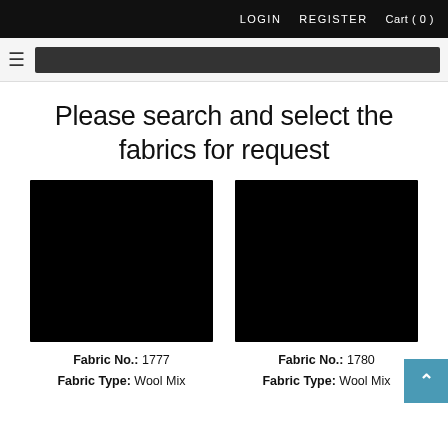LOGIN   REGISTER   Cart (0)
Please search and select the fabrics for request
[Figure (photo): Black fabric swatch image for Fabric No. 1777]
Fabric No.: 1777
Fabric Type: Wool Mix
[Figure (photo): Black fabric swatch image for Fabric No. 1780]
Fabric No.: 1780
Fabric Type: Wool Mix